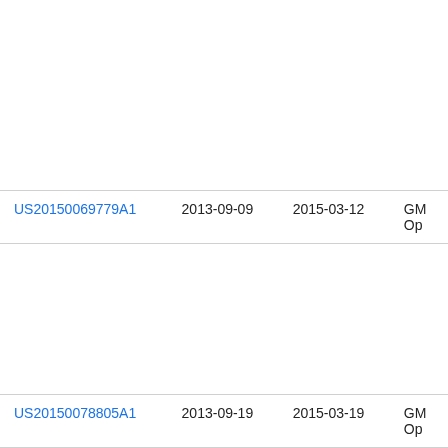| Publication | Filing Date | Publication Date | Assignee |
| --- | --- | --- | --- |
| US20150069779A1 | 2013-09-09 | 2015-03-12 | GM Op |
| US20150078805A1 | 2013-09-19 | 2015-03-19 | GM Op |
| US9039318B2 | 2010-09-10 | 2015-05-26 | Bay We Akt |